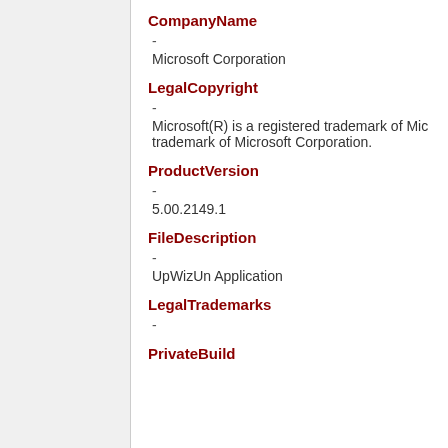CompanyName
-
Microsoft Corporation
LegalCopyright
-
Microsoft(R) is a registered trademark of Microsoft Corporation. Windows(R) is a registered trademark of Microsoft Corporation.
ProductVersion
-
5.00.2149.1
FileDescription
-
UpWizUn Application
LegalTrademarks
-
PrivateBuild